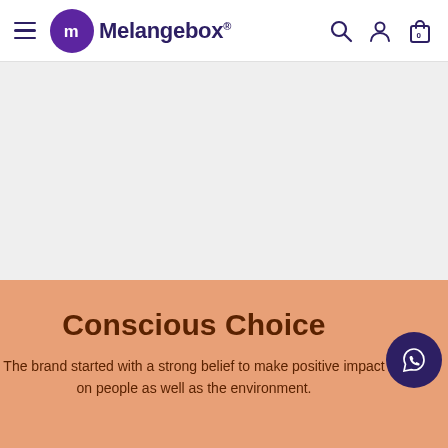Melangebox® — navigation bar with hamburger menu, logo, search, account, and bag (0) icons
[Figure (screenshot): Gray placeholder area below nav bar, representing an image or banner section]
Conscious Choice
The brand started with a strong belief to make positive impact on people as well as the environment.